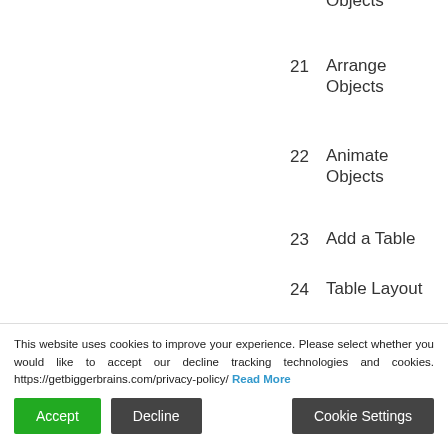21  Arrange Objects  9
22  Animate Objects  1
23  Add a Table  4
24  Table Layout  7
25  Table Design  6
26  Insert a Table from Other Applications  4
27  Creating a  9
28  Designing a Chart  4
29  Formatting a Chart  1
This website uses cookies to improve your experience. Please select whether you would like to accept our decline tracking technologies and cookies. https://getbiggerbrains.com/privacy-policy/ Read More